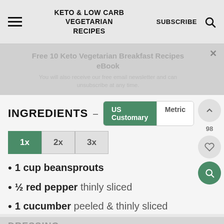KETO & LOW CARB VEGETARIAN RECIPES  SUBSCRIBE
Free 10 Keto Vegetarian Breakfast Recipes eBook
You will also receive our free email newsletter and can unsubscribe at any time.
INGREDIENTS
1 cup beansprouts
½ red pepper thinly sliced
1 cucumber peeled & thinly sliced
DRESSING
1 tablespoon Tamari sauce